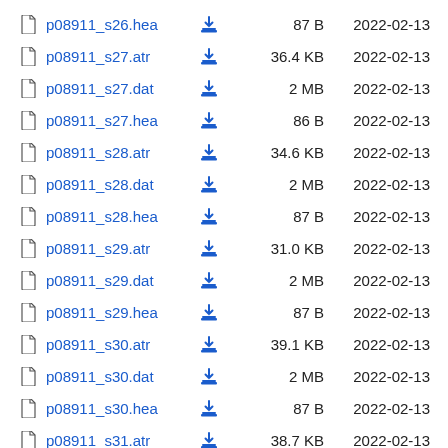| Name |  | Size | Date |
| --- | --- | --- | --- |
| p08911_s26.hea | ↓ | 87 B | 2022-02-13 |
| p08911_s27.atr | ↓ | 36.4 KB | 2022-02-13 |
| p08911_s27.dat | ↓ | 2 MB | 2022-02-13 |
| p08911_s27.hea | ↓ | 86 B | 2022-02-13 |
| p08911_s28.atr | ↓ | 34.6 KB | 2022-02-13 |
| p08911_s28.dat | ↓ | 2 MB | 2022-02-13 |
| p08911_s28.hea | ↓ | 87 B | 2022-02-13 |
| p08911_s29.atr | ↓ | 31.0 KB | 2022-02-13 |
| p08911_s29.dat | ↓ | 2 MB | 2022-02-13 |
| p08911_s29.hea | ↓ | 87 B | 2022-02-13 |
| p08911_s30.atr | ↓ | 39.1 KB | 2022-02-13 |
| p08911_s30.dat | ↓ | 2 MB | 2022-02-13 |
| p08911_s30.hea | ↓ | 87 B | 2022-02-13 |
| p08911_s31.atr | ↓ | 38.7 KB | 2022-02-13 |